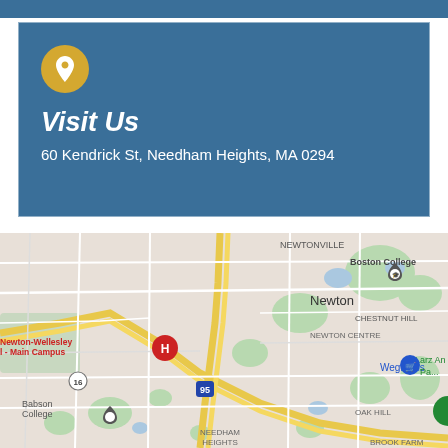Visit Us
60 Kendrick St, Needham Heights, MA 0294
[Figure (map): Google Maps view showing Newton, MA area including Newton-Wellesley Hospital Main Campus, Boston College, Chestnut Hill, Newton Centre, Wegmans, Babson College, Oak Hill, Needham Heights, Brook Farm, and Larz Anderson Park]